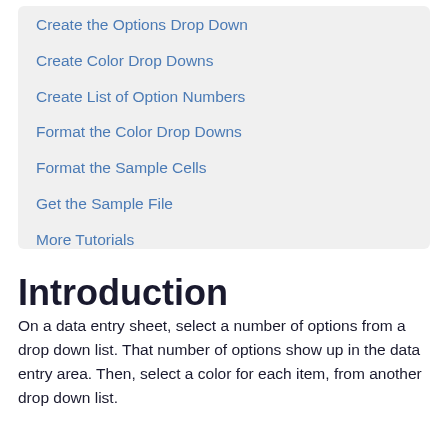Create the Options Drop Down
Create Color Drop Downs
Create List of Option Numbers
Format the Color Drop Downs
Format the Sample Cells
Get the Sample File
More Tutorials
Introduction
On a data entry sheet, select a number of options from a drop down list. That number of options show up in the data entry area. Then, select a color for each item, from another drop down list.